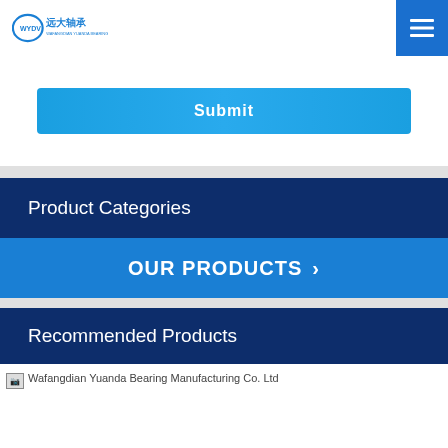WYDV 远大轴承 — navigation header with menu button
Submit
Product Categories
OUR PRODUCTS >
Recommended Products
[Figure (photo): Broken image placeholder for Wafangdian Yuanda Bearing Manufacturing Co. Ltd]